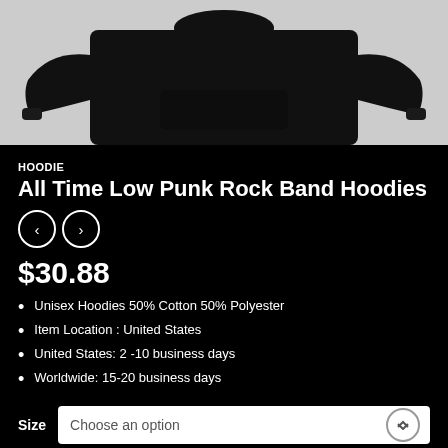[Figure (photo): Black hoodie sweatshirt displayed on white/light gray background, showing the torso and sleeves of the garment.]
HOODIE
All Time Low Punk Rock Band Hoodies
$30.88
Unisex Hoodies 50% Cotton 50% Polyester
Item Location : United States
United States: 2 -10 business days
Worldwide: 15-20 business days
Size  Choose an option